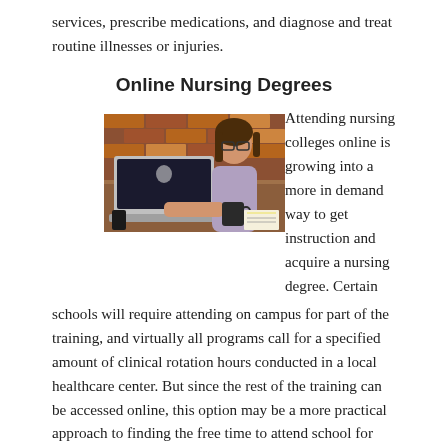services, prescribe medications, and diagnose and treat routine illnesses or injuries.
Online Nursing Degrees
[Figure (photo): A young woman with glasses and brown hair working on a laptop at a wooden desk, with a brick wall in the background and a coffee mug and papers nearby.]
Attending nursing colleges online is growing into a more in demand way to get instruction and acquire a nursing degree. Certain schools will require attending on campus for part of the training, and virtually all programs call for a specified amount of clinical rotation hours conducted in a local healthcare center. But since the rest of the training can be accessed online, this option may be a more practical approach to finding the free time to attend school for many Death Valley